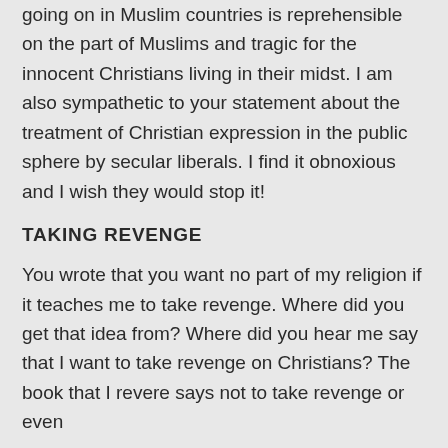going on in Muslim countries is reprehensible on the part of Muslims and tragic for the innocent Christians living in their midst. I am also sympathetic to your statement about the treatment of Christian expression in the public sphere by secular liberals. I find it obnoxious and I wish they would stop it!
TAKING REVENGE
You wrote that you want no part of my religion if it teaches me to take revenge. Where did you get that idea from? Where did you hear me say that I want to take revenge on Christians? The book that I revere says not to take revenge or even